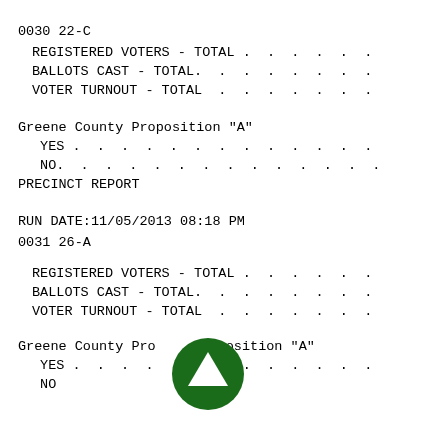0030 22-C
REGISTERED VOTERS - TOTAL . . . . . .
BALLOTS CAST - TOTAL.  . . . . . . .
VOTER TURNOUT - TOTAL  . . . . . . .
Greene County Proposition "A"
YES . . . . . . . . . . . . .
NO.  . . . . . . . . . . . . . .
PRECINCT REPORT
RUN DATE:11/05/2013 08:18 PM
0031 26-A
REGISTERED VOTERS - TOTAL . . . . . .
BALLOTS CAST - TOTAL.  . . . . . . .
VOTER TURNOUT - TOTAL  . . . . . . .
Greene County Proposition "A"
YES . . . . . . . . . . . . .
NO